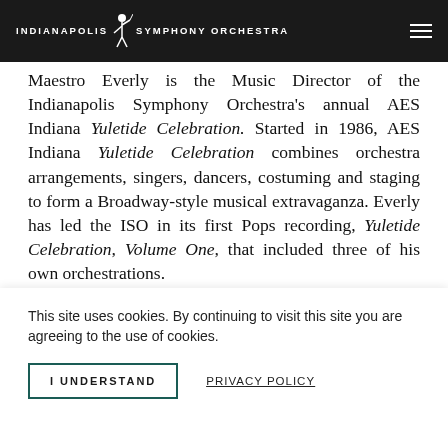INDIANAPOLIS SYMPHONY ORCHESTRA
Maestro Everly is the Music Director of the Indianapolis Symphony Orchestra's annual AES Indiana Yuletide Celebration. Started in 1986, AES Indiana Yuletide Celebration combines orchestra arrangements, singers, dancers, costuming and staging to form a Broadway-style musical extravaganza. Everly has led the ISO in its first Pops recording, Yuletide Celebration, Volume One, that included three of his own orchestrations.
[Figure (photo): Partial view of an image, likely a performance or portrait photo related to the Indianapolis Symphony Orchestra]
This site uses cookies. By continuing to visit this site you are agreeing to the use of cookies.
I UNDERSTAND   PRIVACY POLICY